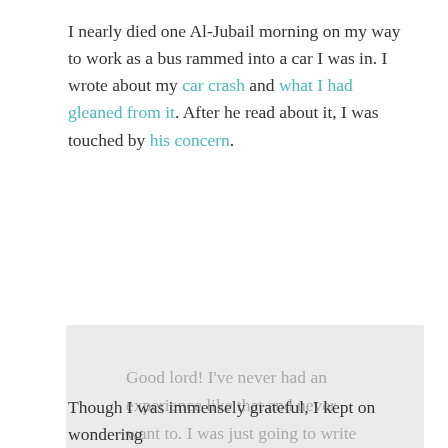I nearly died one Al-Jubail morning on my way to work as a bus rammed into a car I was in. I wrote about my car crash and what I had gleaned from it. After he read about it, I was touched by his concern.
Good lord! I've never had an experience like that and never want to. I was just going to write you in another matter, but not now, not like this. Heal. Calm. Rededicate your life which has been given back to you.

Take care,
R
Though I was immensely grateful, I kept on wondering